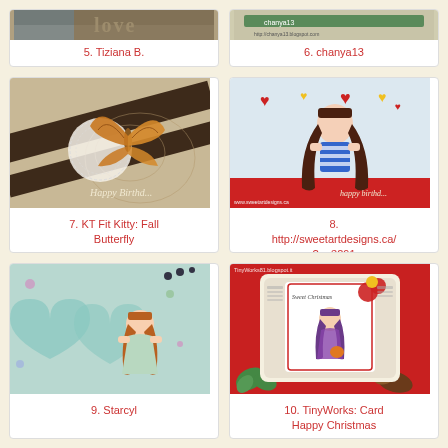[Figure (photo): Partial view of card with 'love' text, entry 5 by Tiziana B.]
5. Tiziana B.
[Figure (photo): Partial view of chanya13 card/blog header, entry 6]
6. chanya13
[Figure (photo): Handmade card featuring an orange butterfly on dark brown striped background with 'Happy Birthday' text]
7. KT Fit Kitty: Fall Butterfly
[Figure (photo): Handmade card with anime-style girl with long brown hair, hearts, striped outfit, 'happy birthday' text]
8. http://sweetartdesigns.ca/?p=3291
[Figure (photo): Handmade card with girl figure and large teal hearts on pastel background]
9. Starcyl
[Figure (photo): Handmade Christmas card with girl figure, poinsettia, red and green design, TinyWorks81.blogspot.it]
10. TinyWorks: Card Happy Christmas